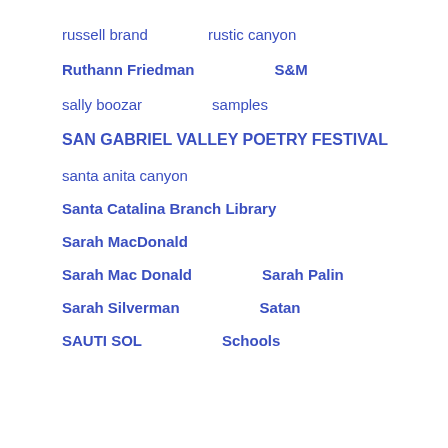russell brand    rustic canyon
Ruthann Friedman    S&M
sally boozar    samples
SAN GABRIEL VALLEY POETRY FESTIVAL
santa anita canyon
Santa Catalina Branch Library
Sarah MacDonald
Sarah Mac Donald    Sarah Palin
Sarah Silverman    Satan
SAUTI SOL    Schools